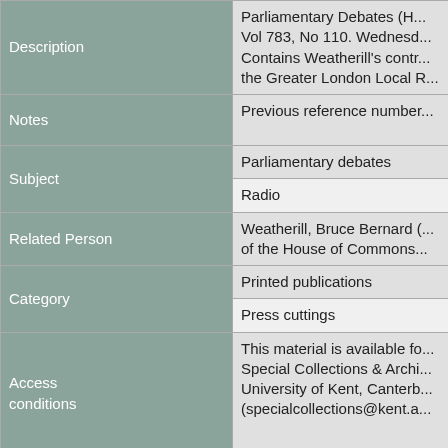| Field | Value |
| --- | --- |
| Description | Parliamentary Debates (H... Vol 783, No 110. Wednesd... Contains Weatherill's contr... the Greater London Local R... |
| Notes | Previous reference number... |
| Subject | Parliamentary debates |
|  | Radio |
| Related Person | Weatherill, Bruce Bernard (... of the House of Commons... |
| Category | Printed publications |
|  | Press cuttings |
| Access conditions | This material is available fo... Special Collections & Archi... University of Kent, Canterb... (specialcollections@kent.a... |
| Copyright | Material within the archive m... terms of the Copyright, Des... Collections & Archives staff... trace copyright holders, but... to obtain the permission of... copyright material for uses... |
| Level | SubSubSeries |